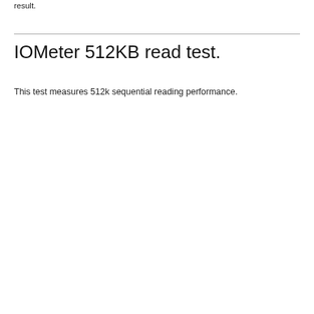result.
IOMeter 512KB read test.
This test measures 512k sequential reading performance.